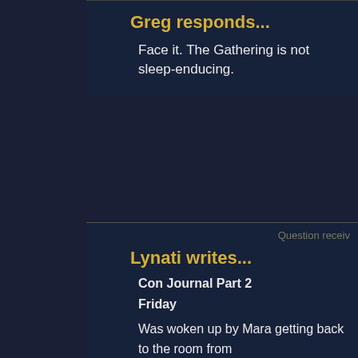Greg responds...
Face it. The Gathering is not sleep-enducing.
Question receiv...
Lynati writes...
Con Journal Part 2
Friday
Was woken up by Mara getting back to the room from that my reputation as a Scary Fangirl (tm) had appar this entirely out of proportion and spent the morning a I do something to confirm the fact. (Easy to do with th pass within two feet of them on a couple occasions i got our con goodies; and as further proof that Chris h was convinced to sign up for the Clan Olympics 2005 hates more than participating in a sport, it's participat fourth, and I'd already begged off for the fact I had a